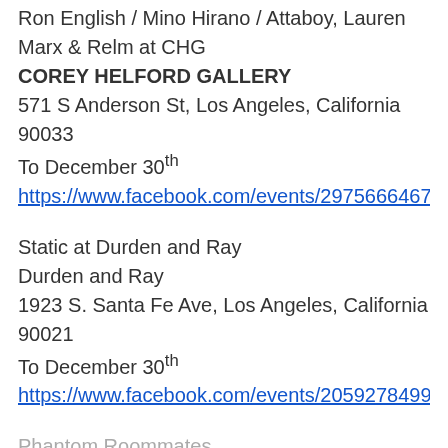Ron English / Mino Hirano / Attaboy, Lauren Marx & Relm at CHG
COREY HELFORD GALLERY
571 S Anderson St, Los Angeles, California 90033
To December 30th
https://www.facebook.com/events/29756664674230
Static at Durden and Ray
Durden and Ray
1923 S. Santa Fe Ave, Los Angeles, California 90021
To December 30th
https://www.facebook.com/events/20592784995120
Phantom Roommates...